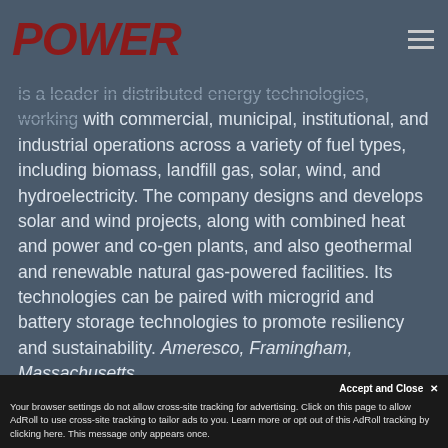POWER
is a leader in distributed energy technologies, working with commercial, municipal, institutional, and industrial operations across a variety of fuel types, including biomass, landfill gas, solar, wind, and hydroelectricity. The company designs and develops solar and wind projects, along with combined heat and power and co-gen plants, and also geothermal and renewable natural gas-powered facilities. Its technologies can be paired with microgrid and battery storage technologies to promote resiliency and sustainability. Ameresco, Framingham, Massachusetts
ameresco.com
Making Energy a
Your browser settings do not allow cross-site tracking for advertising. Click on this page to allow AdRoll to use cross-site tracking to tailor ads to you. Learn more or opt out of this AdRoll tracking by clicking here. This message only appears once.